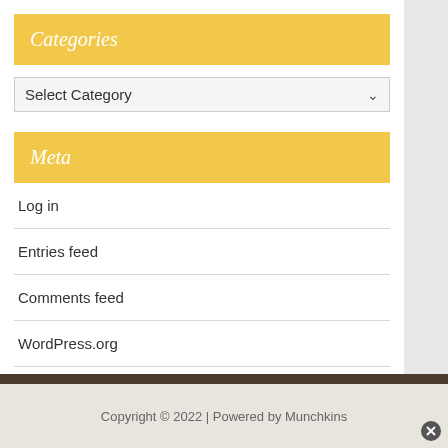Categories
Select Category
Meta
Log in
Entries feed
Comments feed
WordPress.org
Food Advertising by GourmetAds™
Copyright © 2022 | Powered by Munchkins